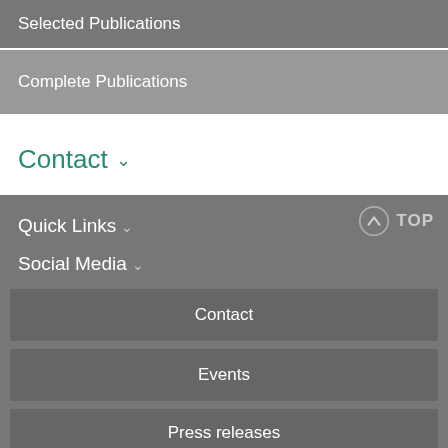Selected Publications
Complete Publications
Contact ∨
Quick Links ∨
Social Media ∨
Contact
Events
Press releases